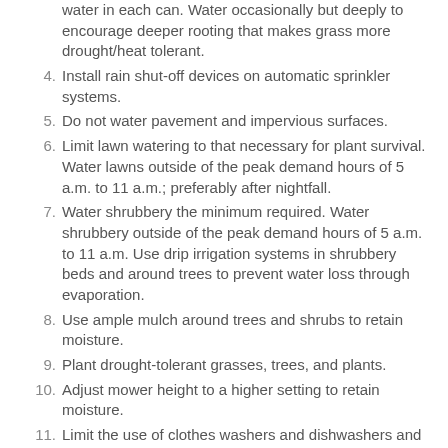water in each can. Water occasionally but deeply to encourage deeper rooting that makes grass more drought/heat tolerant.
4. Install rain shut-off devices on automatic sprinkler systems.
5. Do not water pavement and impervious surfaces.
6. Limit lawn watering to that necessary for plant survival. Water lawns outside of the peak demand hours of 5 a.m. to 11 a.m.; preferably after nightfall.
7. Water shrubbery the minimum required. Water shrubbery outside of the peak demand hours of 5 a.m. to 11 a.m. Use drip irrigation systems in shrubbery beds and around trees to prevent water loss through evaporation.
8. Use ample mulch around trees and shrubs to retain moisture.
9. Plant drought-tolerant grasses, trees, and plants.
10. Adjust mower height to a higher setting to retain moisture.
11. Limit the use of clothes washers and dishwashers and when used, operate fully loaded. Operate dishwashers outside of the peak demand hours of 5 a.m. to 11 a.m.,